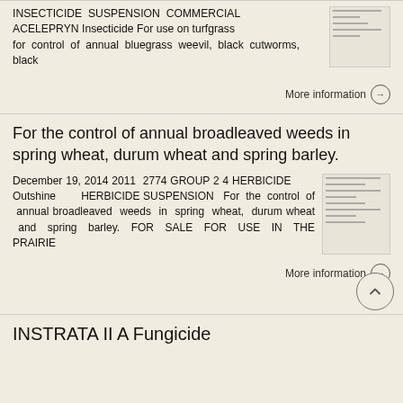INSECTICIDE SUSPENSION COMMERCIAL ACELEPRYN Insecticide For use on turfgrass for control of annual bluegrass weevil, black cutworms, black
More information →
For the control of annual broadleaved weeds in spring wheat, durum wheat and spring barley.
December 19, 2014 2011 2774 GROUP 2 4 HERBICIDE Outshine HERBICIDE SUSPENSION For the control of annual broadleaved weeds in spring wheat, durum wheat and spring barley. FOR SALE FOR USE IN THE PRAIRIE
More information →
INSTRATA II A Fungicide